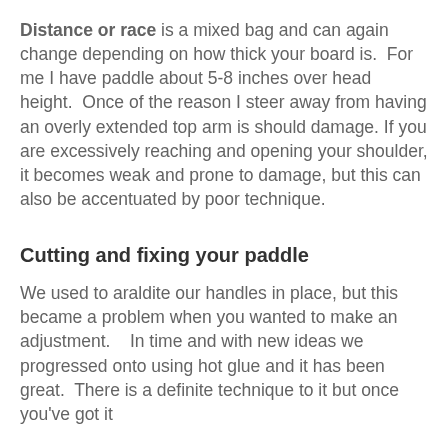Distance or race is a mixed bag and can again change depending on how thick your board is.  For me I have paddle about 5-8 inches over head height.  Once of the reason I steer away from having an overly extended top arm is should damage. If you are excessively reaching and opening your shoulder, it becomes weak and prone to damage, but this can also be accentuated by poor technique.
Cutting and fixing your paddle
We used to araldite our handles in place, but this became a problem when you wanted to make an adjustment.    In time and with new ideas we progressed onto using hot glue and it has been great.  There is a definite technique to it but once you've got it